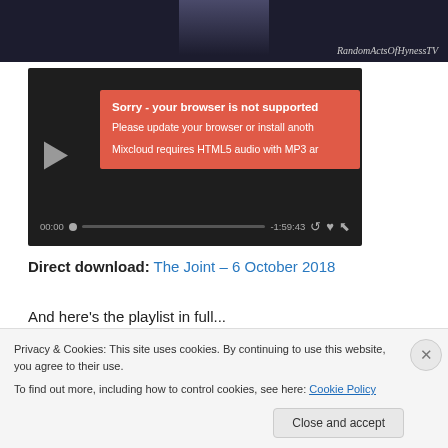[Figure (screenshot): Dark video thumbnail with 'RandomActsOfHynessTV' text at top right]
[Figure (screenshot): Mixcloud audio player widget in dark theme showing a red error box: 'Sorry - your browser is not supported. Please update your browser or install another. Mixcloud requires HTML5 audio with MP3 ar...' with playback controls showing 00:00 and -1:59:43]
Direct download: The Joint – 6 October 2018
And here's the playlist in full...
BOBBIE GENTRY – Fancy
Privacy & Cookies: This site uses cookies. By continuing to use this website, you agree to their use.
To find out more, including how to control cookies, see here: Cookie Policy